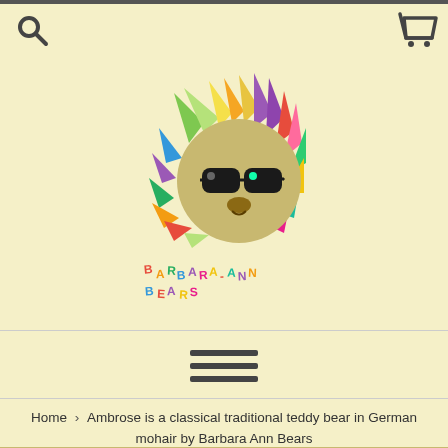[Figure (logo): Barbara-Ann Bears colorful logo showing a fluffy bear face with sunglasses and rainbow fur, with the text BARBARA-ANN BEARS in multicolored letters]
[Figure (other): Hamburger menu icon with three horizontal bars]
Home › Ambrose is a classical traditional teddy bear in German mohair by Barbara Ann Bears
[Figure (photo): Blurred close-up photo of a teddy bear at the bottom of the page]